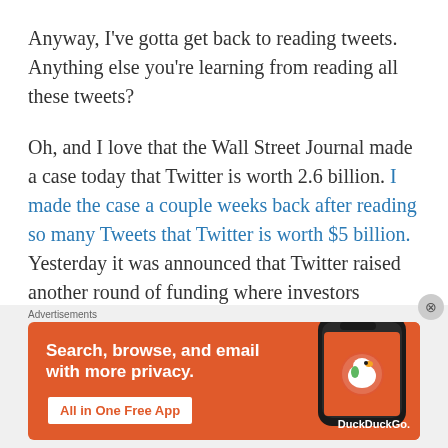Anyway, I've gotta get back to reading tweets. Anything else you're learning from reading all these tweets?
Oh, and I love that the Wall Street Journal made a case today that Twitter is worth 2.6 billion. I made the case a couple weeks back after reading so many Tweets that Twitter is worth $5 billion. Yesterday it was announced that Twitter raised another round of funding where investors poured in cash at a billion dollar valuation, which means that the investors can
Advertisements
[Figure (other): DuckDuckGo advertisement banner: orange background with white text 'Search, browse, and email with more privacy.' and 'All in One Free App' button, alongside an image of a smartphone with the DuckDuckGo logo and wordmark.]